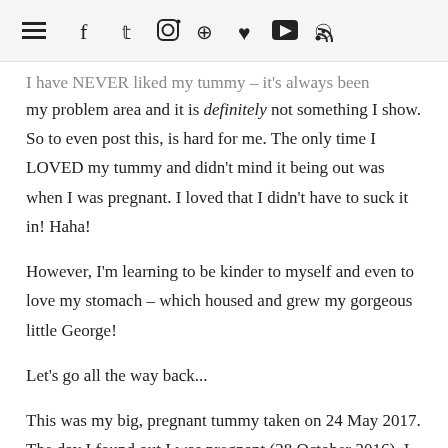≡  f  𝕏  📷  𝗽  ♥  ▶  ⊃
I have NEVER liked my tummy – it's always been my problem area and it is definitely not something I show. So to even post this, is hard for me. The only time I LOVED my tummy and didn't mind it being out was when I was pregnant. I loved that I didn't have to suck it in! Haha!

However, I'm learning to be kinder to myself and even to love my stomach – which housed and grew my gorgeous little George!

Let's go all the way back...

This was my big, pregnant tummy taken on 24 May 2017. The day I found out I was pregnant (28 October 2016), I slathered my tummy with oil and creams twice a day religiously because I was...